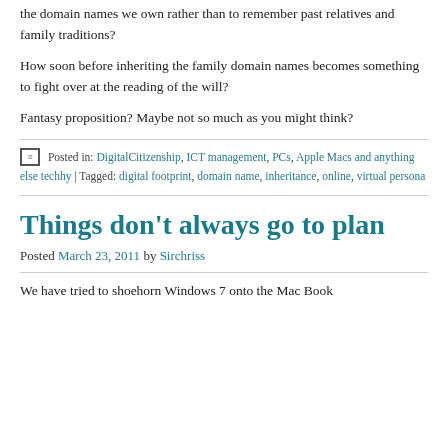the domain names we own rather than to remember past relatives and family traditions?
How soon before inheriting the family domain names becomes something to fight over at the reading of the will?
Fantasy proposition? Maybe not so much as you might think?
Posted in: DigitalCitizenship, ICT management, PCs, Apple Macs and anything else techhy | Tagged: digital footprint, domain name, inheritance, online, virtual persona
Things don't always go to plan
Posted March 23, 2011 by Sirchriss
We have tried to shoehorn Windows 7 onto the Mac Book